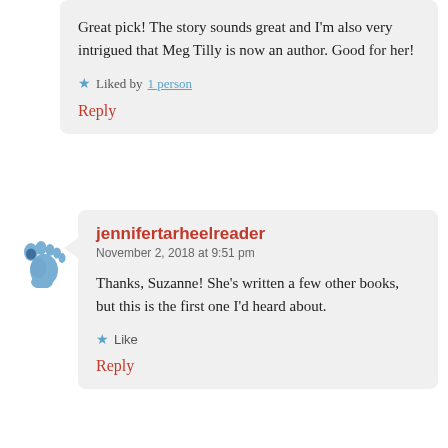Great pick! The story sounds great and I'm also very intrigued that Meg Tilly is now an author. Good for her!
Liked by 1 person
Reply
[Figure (illustration): Blue baby foot / footprint emoji icon]
jennifertarheelreader
November 2, 2018 at 9:51 pm
Thanks, Suzanne! She's written a few other books, but this is the first one I'd heard about.
Like
Reply